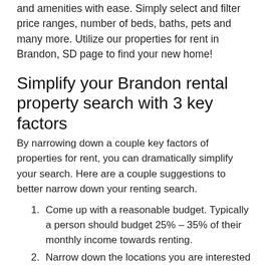and amenities with ease. Simply select and filter price ranges, number of beds, baths, pets and many more. Utilize our properties for rent in Brandon, SD page to find your new home!
Simplify your Brandon rental property search with 3 key factors
By narrowing down a couple key factors of properties for rent, you can dramatically simplify your search. Here are a couple suggestions to better narrow down your renting search.
Come up with a reasonable budget. Typically a person should budget 25% – 35% of their monthly income towards renting.
Narrow down the locations you are interested in. Factor in schools, distance to shopping etc. Once you have decided on an area of town you would like to live, focus on that area.
Decide the least number of bedrooms you require to